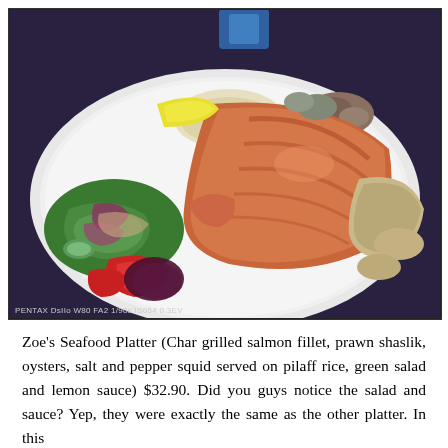[Figure (photo): A white plate containing Zoe's Seafood Platter: char grilled salmon fillet, prawn shaslik, oysters, salt and pepper squid on pilaff rice, green salad with red onions, tomatoes, cucumber, and lemon sauce. Photo taken in dim restaurant lighting. Camera EXIF info visible at bottom: PENTAX DsIIo W80 FA2 1/90s IS054 0.3EV]
Zoe's Seafood Platter (Char grilled salmon fillet, prawn shaslik, oysters, salt and pepper squid served on pilaff rice, green salad and lemon sauce) $32.90. Did you guys notice the salad and sauce? Yep, they were exactly the same as the other platter. In this